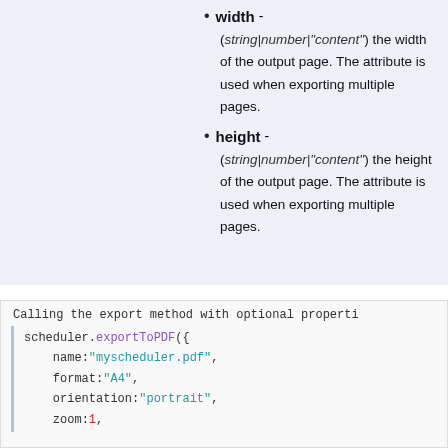width - (string|number|"content") the width of the output page. The attribute is used when exporting multiple pages.
height - (string|number|"content") the height of the output page. The attribute is used when exporting multiple pages.
Calling the export method with optional properties
scheduler.exportToPDF({
    name:"myscheduler.pdf",
    format:"A4",
    orientation:"portrait",
    zoom:1,